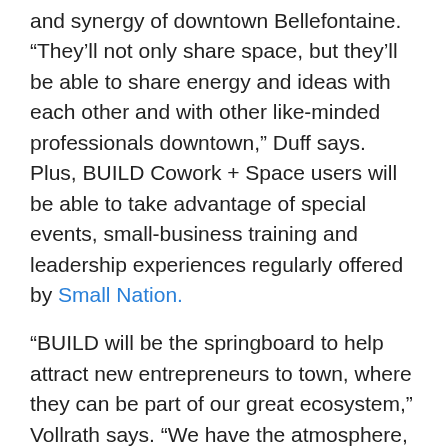and synergy of downtown Bellefontaine. “They’ll not only share space, but they’ll be able to share energy and ideas with each other and with other like-minded professionals downtown,” Duff says. Plus, BUILD Cowork + Space users will be able to take advantage of special events, small-business training and leadership experiences regularly offered by Small Nation.
“BUILD will be the springboard to help attract new entrepreneurs to town, where they can be part of our great ecosystem,” Vollrath says. “We have the atmosphere, support, understanding and amenities to do that.
“It’s exciting and unique for a community of our size to plow ahead with ventures like this,” he adds.
“Small towns across the country are hungry for